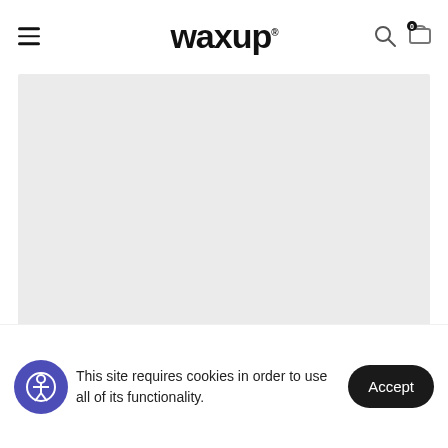waxup
[Figure (photo): Light gray placeholder image area for a product or content image]
This site requires cookies in order to use all of its functionality.
Accept